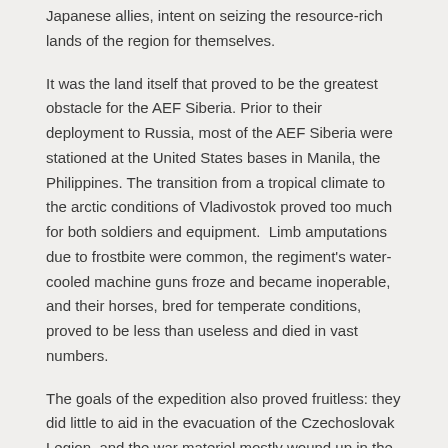Japanese allies, intent on seizing the resource-rich lands of the region for themselves.
It was the land itself that proved to be the greatest obstacle for the AEF Siberia. Prior to their deployment to Russia, most of the AEF Siberia were stationed at the United States bases in Manila, the Philippines. The transition from a tropical climate to the arctic conditions of Vladivostok proved too much for both soldiers and equipment.  Limb amputations due to frostbite were common, the regiment's water-cooled machine guns froze and became inoperable, and their horses, bred for temperate conditions, proved to be less than useless and died in vast numbers.
The goals of the expedition also proved fruitless: they did little to aid in the evacuation of the Czechoslovak Legion, and the war materiel mostly wound up in the hands of the Red Army anyway after the AEF was evacuated from Vladivostok.
Yet they endured, fighting on until they were at long last brought home in April of 1920, almost a year and a half after the signing of the Armistice. The force lost over 200 men, mostly to frostbite and exposure.